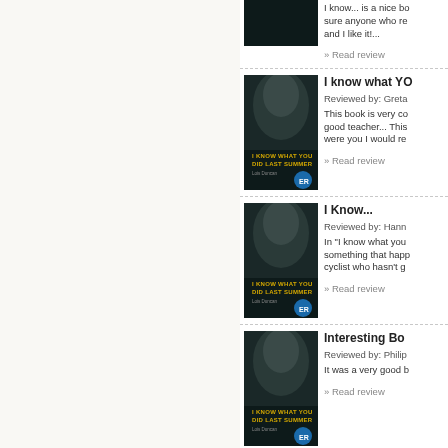[Figure (illustration): Left sidebar with beige/tan background, page navigation area]
I know... is a nice bo sure anyone who re and I like it!...
» Read review
I know what YO
Reviewed by: Greta
This book is very co good teacher... This were you I would re
» Read review
I Know...
Reviewed by: Hann
In "I know what you something that happ cyclist who hasn't g
» Read review
Interesting Bo
Reviewed by: Philip
It was a very good b
» Read review